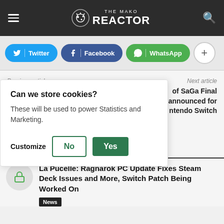THE MAKO REACTOR
[Figure (screenshot): Social sharing buttons: Twitter, Facebook, WhatsApp, and a plus button]
Previous article
Next article
of SaGa Final announced for ntendo Switch
[Figure (screenshot): Cookie consent dialog with title 'Can we store cookies?', body text 'These will be used to power Statistics and Marketing.', and buttons: Customize, No, Yes]
La Pucelle: Ragnarok PC Update Fixes Steam Deck Issues and More, Switch Patch Being Worked On
News